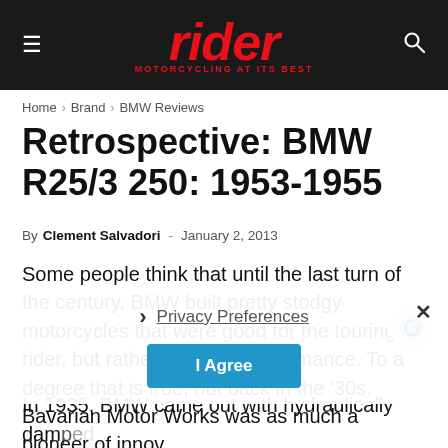rider MOTORCYCLING AT ITS BEST
Home › Brand › BMW Reviews
Retrospective: BMW R25/3 250: 1953-1955
By Clement Salvadori - January 2, 2013
Some people think that until the last turn of the century, BMW built pretty stodgy motorcycles that were good for the touring rider, but rather weak on performance. To a degree that is true, but back in the '30s, Bavarian Motor Works was as much a pioneer of innov…
Privacy Preferences
I Agree
In 1935, BMW came out with hydraulically dam…